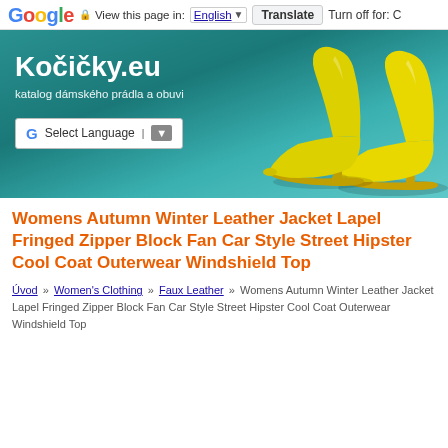Google — View this page in: English | Translate | Turn off for: C
[Figure (screenshot): Kočičky.eu website banner with teal gradient background showing site title 'Kočičky.eu' and subtitle 'katalog dámského prádla a obuvi', a Google Translate Select Language widget, and yellow high-heel shoes on the right side]
Womens Autumn Winter Leather Jacket Lapel Fringed Zipper Block Fan Car Style Street Hipster Cool Coat Outerwear Windshield Top
Úvod » Women's Clothing » Faux Leather » Womens Autumn Winter Leather Jacket Lapel Fringed Zipper Block Fan Car Style Street Hipster Cool Coat Outerwear Windshield Top